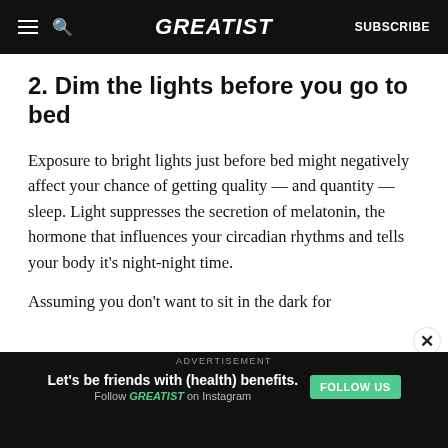GREATIST | SUBSCRIBE
2. Dim the lights before you go to bed
Exposure to bright lights just before bed might negatively affect your chance of getting quality — and quantity — sleep. Light suppresses the secretion of melatonin, the hormone that influences your circadian rhythms and tells your body it's night-night time.
Assuming you don't want to sit in the dark for
[Figure (other): Advertisement banner: dark background with doodle illustrations, text reads 'Let’s be friends with (health) benefits. Follow GREATIST on Instagram' with a teal FOLLOW US button.]